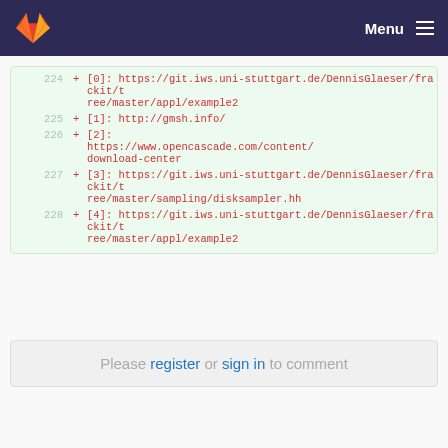Menu
224  + [0]: https://git.iws.uni-stuttgart.de/DennisGlaeser/frackit/tree/master/appl/example2
225  + [1]: http://gmsh.info/
226  + [2]: https://www.opencascade.com/content/download-center
227  + [3]: https://git.iws.uni-stuttgart.de/DennisGlaeser/frackit/tree/master/sampling/disksampler.hh
228  + [4]: https://git.iws.uni-stuttgart.de/DennisGlaeser/frackit/tree/master/appl/example2
Please register or sign in to comment